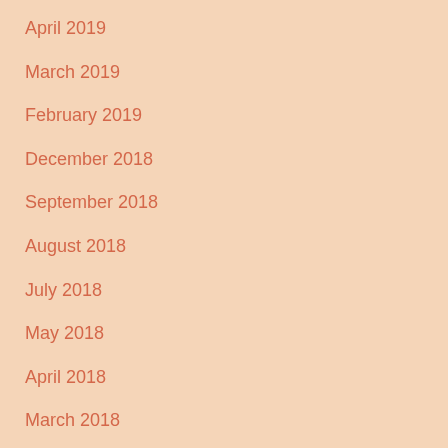April 2019
March 2019
February 2019
December 2018
September 2018
August 2018
July 2018
May 2018
April 2018
March 2018
February 2018